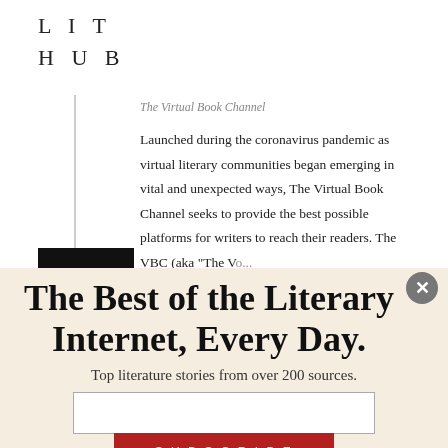LIT
HUB
The Virtual Book Channel
Launched during the coronavirus pandemic as virtual literary communities began emerging in vital and unexpected ways, The Virtual Book Channel seeks to provide the best possible platforms for writers to reach their readers. The VBC (aka "The Vo...
[Figure (logo): VBC (Virtual Book Channel) logo - black background with orange/gold VBC text]
The Best of the Literary Internet, Every Day.
Top literature stories from over 200 sources.
SUBSCRIBE